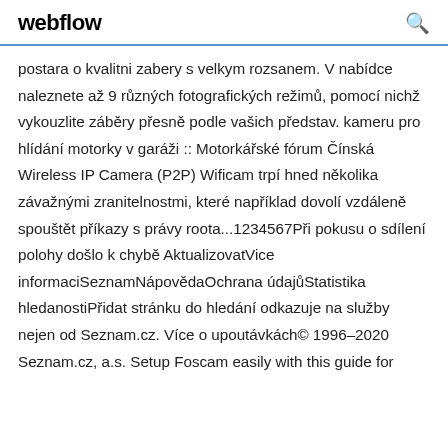webflow
postara o kvalitni zabery s velkym rozsanem. V nabídce naleznete až 9 různých fotografických režimů, pomocí nichž vykouzlite záběry přesně podle vašich představ. kameru pro hlídání motorky v garáži :: Motorkářské fórum Čínská Wireless IP Camera (P2P) Wificam trpí hned několika závažnými zranitelnostmi, které například dovolí vzdáleně spouštět příkazy s právy roota...1234567Při pokusu o sdílení polohy došlo k chybě AktualizovatVice informaciSeznamNápovědaOchrana údajůStatistika hledanostiPřidat stránku do hledání odkazuje na služby nejen od Seznam.cz. Více o upoutávkách© 1996–2020 Seznam.cz, a.s. Setup Foscam easily with this guide for